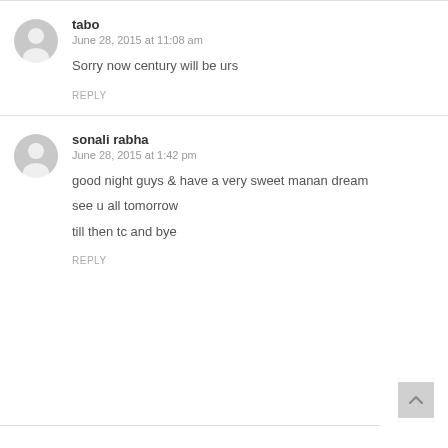tabo
June 28, 2015 at 11:08 am

Sorry now century will be urs

REPLY
sonali rabha
June 28, 2015 at 1:42 pm

good night guys & have a very sweet manan dream
see u all tomorrow
till then tc and bye

REPLY